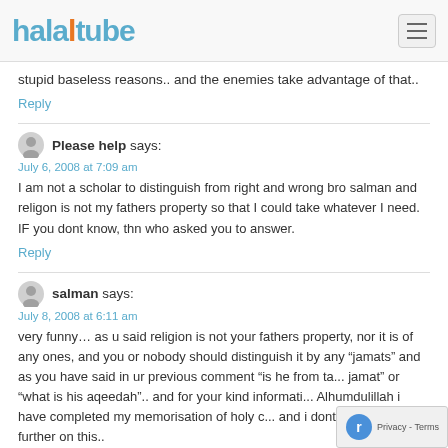halaltube
stupid baseless reasons.. and the enemies take advantage of that..
Reply
Please help says:
July 6, 2008 at 7:09 am
I am not a scholar to distinguish from right and wrong bro salman and religon is not my fathers property so that I could take whatever I need. IF you dont know, thn who asked you to answer.
Reply
salman says:
July 8, 2008 at 6:11 am
very funny… as u said religion is not your fathers property, nor it is of any ones, and you or nobody should distinguish it by any "jamats" and as you have said in ur previous comment "is he from ta... jamat" or "what is his aqeedah".. and for your kind informati... Alhumdulillah i have completed my memorisation of holy c... and i dont want to argue further on this..